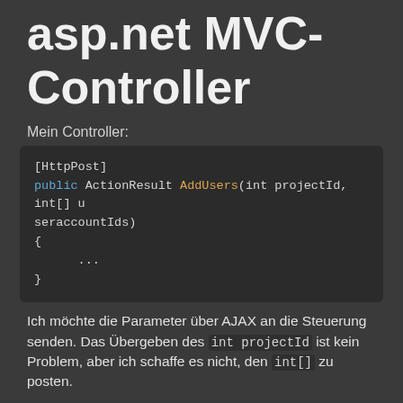asp.net MVC-Controller
Mein Controller:
[Figure (screenshot): Code block showing C# ASP.NET MVC controller method with [HttpPost] attribute and AddUsers action]
Ich möchte die Parameter über AJAX an die Steuerung senden. Das Übergeben des int projectId ist kein Problem, aber ich schaffe es nicht, den int[] zu posten.